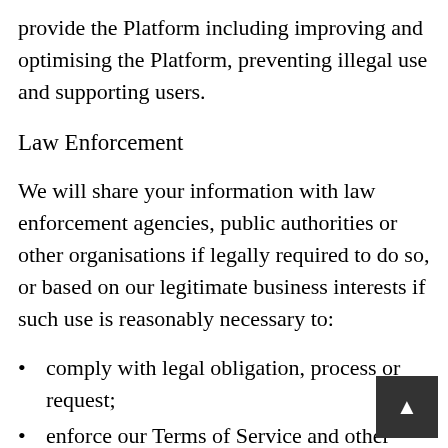provide the Platform including improving and optimising the Platform, preventing illegal use and supporting users.
Law Enforcement
We will share your information with law enforcement agencies, public authorities or other organisations if legally required to do so, or based on our legitimate business interests if such use is reasonably necessary to:
comply with legal obligation, process or request;
enforce our Terms of Service and other agreements, policies, and standards, including investigation of any potential violation thereof;